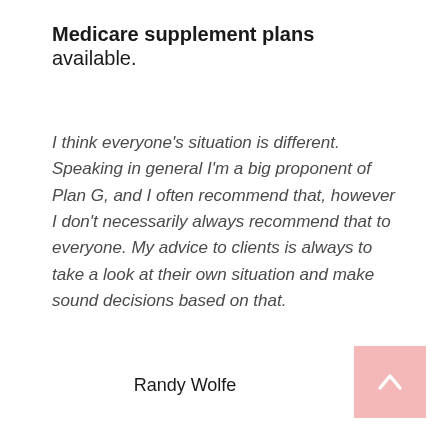Medicare supplement plans available.
I think everyone's situation is different. Speaking in general I'm a big proponent of Plan G, and I often recommend that, however I don't necessarily always recommend that to everyone. My advice to clients is always to take a look at their own situation and make sound decisions based on that.
Randy Wolfe